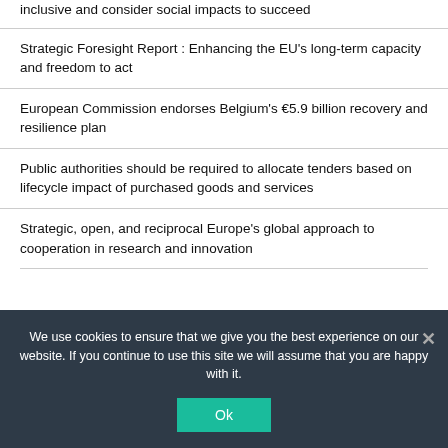inclusive and consider social impacts to succeed
Strategic Foresight Report : Enhancing the EU's long-term capacity and freedom to act
European Commission endorses Belgium's €5.9 billion recovery and resilience plan
Public authorities should be required to allocate tenders based on lifecycle impact of purchased goods and services
Strategic, open, and reciprocal Europe's global approach to cooperation in research and innovation
We use cookies to ensure that we give you the best experience on our website. If you continue to use this site we will assume that you are happy with it.